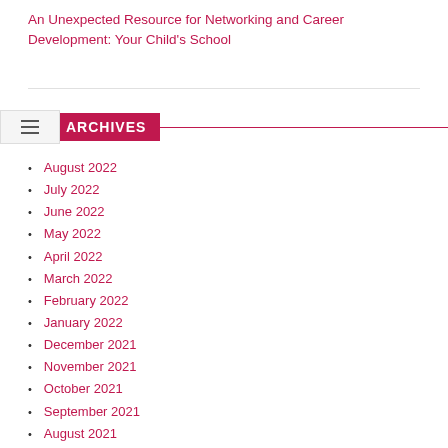An Unexpected Resource for Networking and Career Development: Your Child's School
ARCHIVES
August 2022
July 2022
June 2022
May 2022
April 2022
March 2022
February 2022
January 2022
December 2021
November 2021
October 2021
September 2021
August 2021